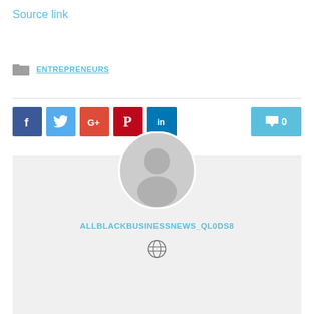Source link
ENTREPRENEURS
[Figure (infographic): Row of social sharing buttons: Facebook (blue), Twitter (light blue), Google+ (red-orange), Pinterest (dark red), LinkedIn (blue), and a comment button with 0 count on the right]
[Figure (photo): Author profile card with grey placeholder avatar, username ALLBLACKBUSINESSNEWS_QL0DS8, and a globe/website icon below]
ALLBLACKBUSINESSNEWS_QL0DS8